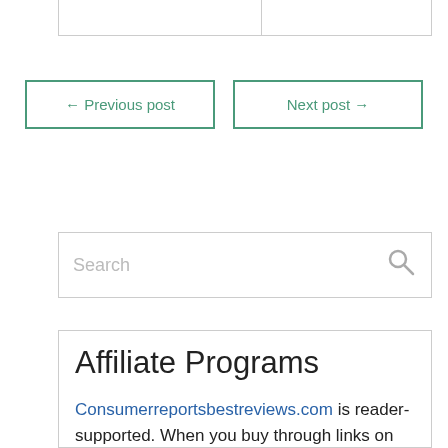← Previous post   Next post →
[Figure (other): Search input box with magnifying glass icon]
Affiliate Programs
Consumerreportsbestreviews.com is reader-supported. When you buy through links on our website, we may earn an affiliate